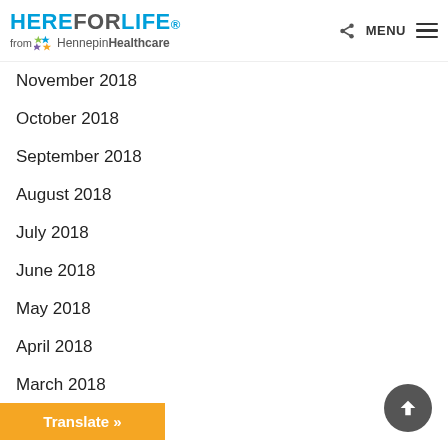HEREFORLIFE from HennepinHealthcare
November 2018
October 2018
September 2018
August 2018
July 2018
June 2018
May 2018
April 2018
March 2018
February 2018
January 2018
December 2017
November 2017
October 2017